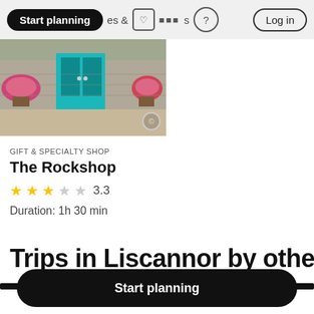Start planning · & Activities · ? · Log in
[Figure (photo): Exterior of The Rockshop building with teal/turquoise door, stone wall, and flower baskets]
GIFT & SPECIALTY SHOP
The Rockshop
3.3 (star rating, 3 full stars and partial)
Duration: 1h 30 min
Trips in Liscannor by other u
Start planning